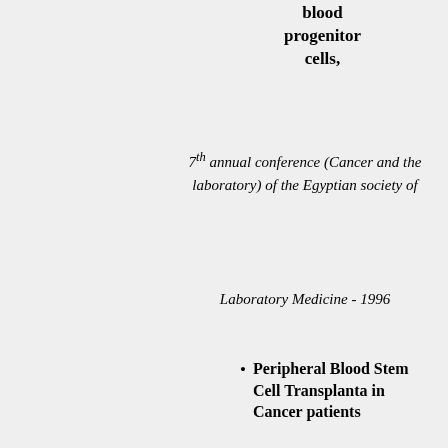blood progenitor cells,
7th annual conference (Cancer and the laboratory) of the Egyptian society of
Laboratory Medicine - 1996
Peripheral Blood Stem Cell Transplanta in Cancer patients
1st annual conference of clinical Oncology department and nuclear medicine – Alexandria